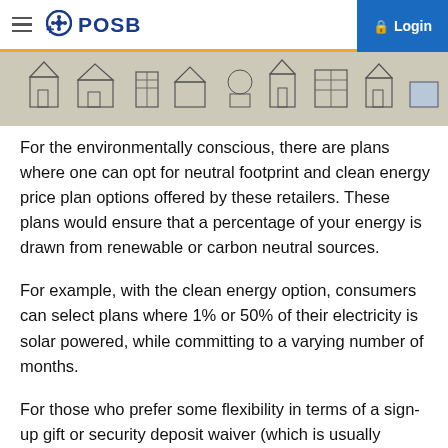POSB — Login
[Figure (illustration): Decorative banner image showing hand-drawn style houses and buildings in a sketch/doodle art style]
For the environmentally conscious, there are plans where one can opt for neutral footprint and clean energy price plan options offered by these retailers. These plans would ensure that a percentage of your energy is drawn from renewable or carbon neutral sources.
For example, with the clean energy option, consumers can select plans where 1% or 50% of their electricity is solar powered, while committing to a varying number of months.
For those who prefer some flexibility in terms of a sign-up gift or security deposit waiver (which is usually subjected to terms and conditions and varies from